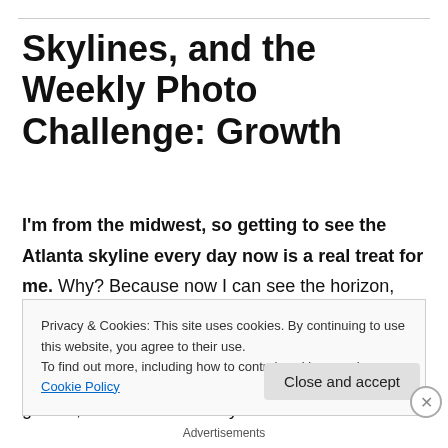Skylines, and the Weekly Photo Challenge: Growth
I'm from the midwest, so getting to see the Atlanta skyline every day now is a real treat for me. Why? Because now I can see the horizon, something I've missed in the years since moving here and living in a house beneath the tree canopy. But now the city is full of construction growth, and it looks like my chances for a
Privacy & Cookies: This site uses cookies. By continuing to use this website, you agree to their use.
To find out more, including how to control cookies, see here: Cookie Policy
Close and accept
Advertisements